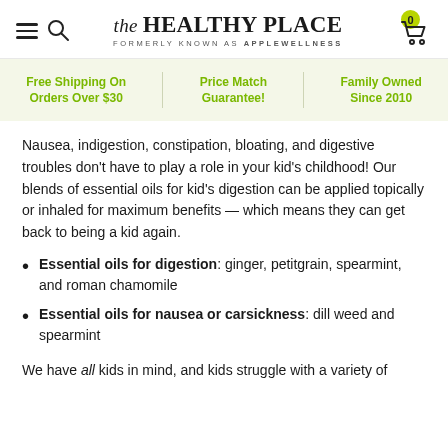the HEALTHY PLACE — FORMERLY KNOWN AS applewellness
Free Shipping On Orders Over $30 | Price Match Guarantee! | Family Owned Since 2010
Nausea, indigestion, constipation, bloating, and digestive troubles don't have to play a role in your kid's childhood! Our blends of essential oils for kid's digestion can be applied topically or inhaled for maximum benefits — which means they can get back to being a kid again.
Essential oils for digestion: ginger, petitgrain, spearmint, and roman chamomile
Essential oils for nausea or carsickness: dill weed and spearmint
We have all kids in mind, and kids struggle with a variety of